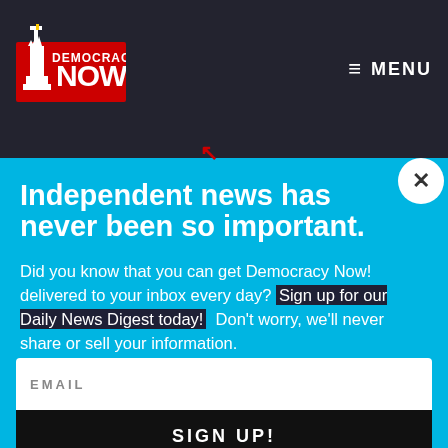Democracy Now! — MENU
Independent news has never been so important.
Did you know that you can get Democracy Now! delivered to your inbox every day? Sign up for our Daily News Digest today! Don't worry, we'll never share or sell your information.
EMAIL
SIGN UP!